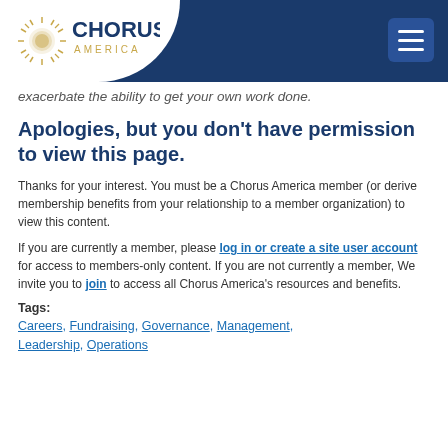Chorus America
exacerbate the ability to get your own work done.
Apologies, but you don't have permission to view this page.
Thanks for your interest. You must be a Chorus America member (or derive membership benefits from your relationship to a member organization) to view this content.
If you are currently a member, please log in or create a site user account for access to members-only content. If you are not currently a member, We invite you to join to access all Chorus America's resources and benefits.
Tags: Careers, Fundraising, Governance, Management, Leadership, Operations